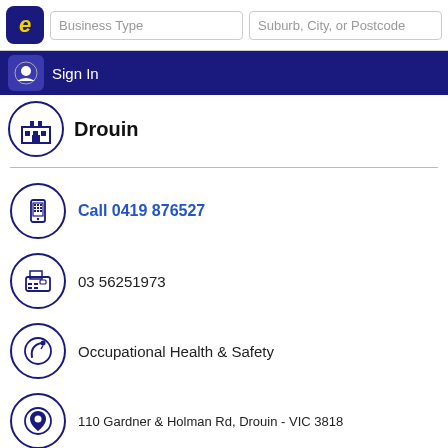Business Type | Suburb, City, or Postcode | Sign In
Drouin
Call 0419 876527
03 56251973
Occupational Health & Safety
110 Gardner & Holman Rd, Drouin - VIC 3818
safeconsulting@dcsi.net.au